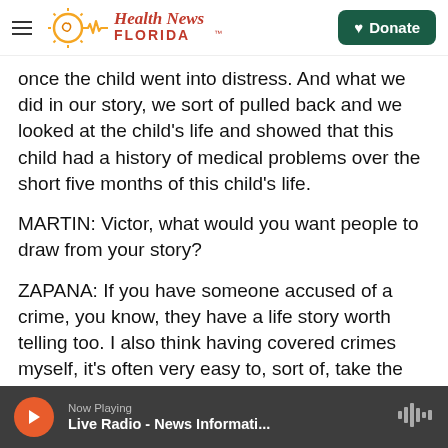Health News Florida — Donate
once the child went into distress. And what we did in our story, we sort of pulled back and we looked at the child's life and showed that this child had a history of medical problems over the short five months of this child's life.
MARTIN: Victor, what would you want people to draw from your story?
ZAPANA: If you have someone accused of a crime, you know, they have a life story worth telling too. I also think having covered crimes myself, it's often very easy to, sort of, take the side of the clearer
Now Playing — Live Radio - News Informati...